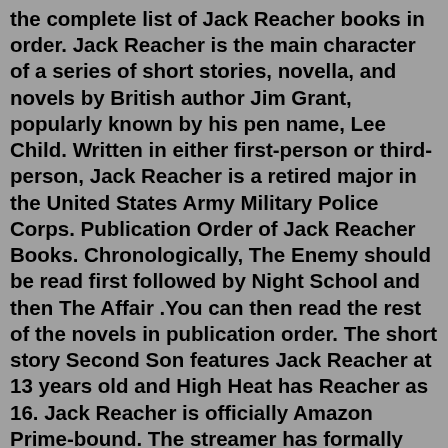the complete list of Jack Reacher books in order. Jack Reacher is the main character of a series of short stories, novella, and novels by British author Jim Grant, popularly known by his pen name, Lee Child. Written in either first-person or third-person, Jack Reacher is a retired major in the United States Army Military Police Corps. Publication Order of Jack Reacher Books. Chronologically, The Enemy should be read first followed by Night School and then The Affair .You can then read the rest of the novels in publication order. The short story Second Son features Jack Reacher at 13 years old and High Heat has Reacher as 16. Jack Reacher is officially Amazon Prime-bound. The streamer has formally handed a series order to In the Jack Reacher novels, the title character is a former military policeman who now roams the...This is the first installment in the Hunt for Reacher series by the critically acclaimed author, Diane Capri. In this installment, Capri introduces the reader to Agents Carlos Gasper and Kim Otto. These